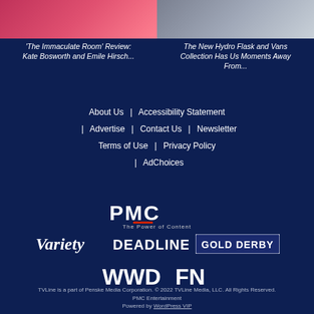[Figure (photo): Top portion showing two article preview images side by side - left is pink/red toned image, right is a lighter toned photo]
'The Immaculate Room' Review: Kate Bosworth and Emile Hirsch...
The New Hydro Flask and Vans Collection Has Us Moments Away From...
About Us | Accessibility Statement | Advertise | Contact Us | Newsletter | Terms of Use | Privacy Policy | AdChoices
[Figure (logo): PMC - The Power of Content logo]
[Figure (logo): Variety, DEADLINE, GOLD DERBY logos]
[Figure (logo): WWD and FN logos]
TVLine is a part of Penske Media Corporation. © 2022 TVLine Media, LLC. All Rights Reserved. PMC Entertainment Powered by WordPress VIP